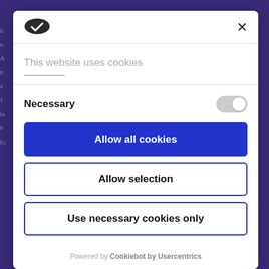[Figure (logo): Cookie consent dialog logo - dark oval shape with checkmark]
This website uses cookies
Necessary
Allow all cookies
Allow selection
Use necessary cookies only
Powered by Cookiebot by Usercentrics